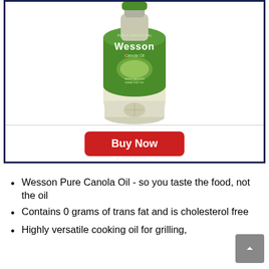[Figure (photo): Wesson Pure Canola Oil bottle product image]
Buy Now
Wesson Pure Canola Oil - so you taste the food, not the oil
Contains 0 grams of trans fat and is cholesterol free
Highly versatile cooking oil for grilling,